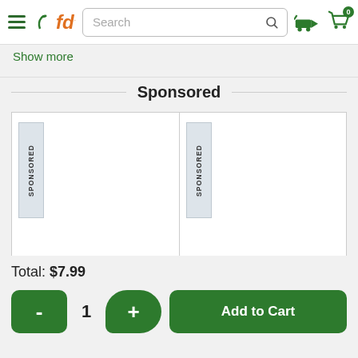fd Search [search icon] [delivery icon] [cart: 0]
Show more
Sponsored
[Figure (screenshot): Two sponsored product placeholders side by side, each with a vertical 'SPONSORED' badge label on the left side]
Total: $7.99
- 1 + Add to Cart